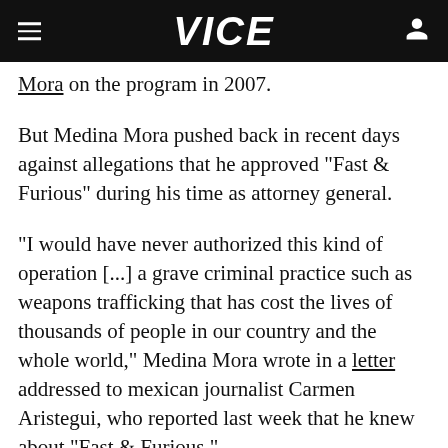VICE
Mora on the program in 2007.
But Medina Mora pushed back in recent days against allegations that he approved "Fast & Furious" during his time as attorney general.
"I would have never authorized this kind of operation [...] a grave criminal practice such as weapons trafficking that has cost the lives of thousands of people in our country and the whole world," Medina Mora wrote in a letter addressed to mexican journalist Carmen Aristegui, who reported last week that he knew about "Fast & Furious."